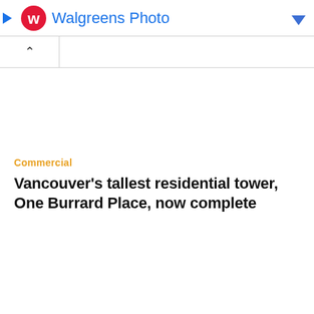[Figure (logo): Walgreens Photo advertisement banner with red W logo, blue text 'Walgreens Photo', a blue play button on the left and a blue dropdown arrow on the right]
[Figure (screenshot): Browser tab bar with an open tab showing an upward chevron caret symbol]
Commercial
Vancouver’s tallest residential tower, One Burrard Place, now complete